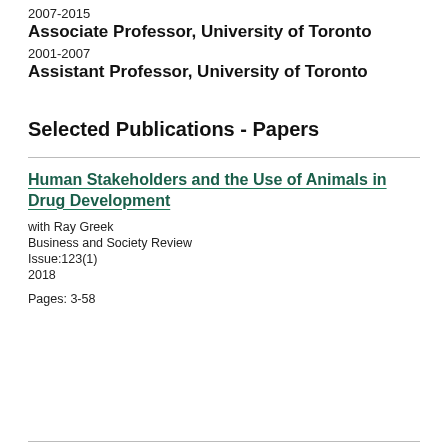2007-2015
Associate Professor, University of Toronto
2001-2007
Assistant Professor, University of Toronto
Selected Publications - Papers
Human Stakeholders and the Use of Animals in Drug Development
with Ray Greek
Business and Society Review
Issue:123(1)
2018
Pages: 3-58